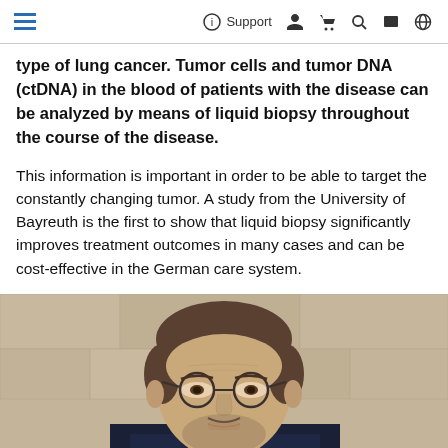Support
type of lung cancer. Tumor cells and tumor DNA (ctDNA) in the blood of patients with the disease can be analyzed by means of liquid biopsy throughout the course of the disease.
This information is important in order to be able to target the constantly changing tumor. A study from the University of Bayreuth is the first to show that liquid biopsy significantly improves treatment outcomes in many cases and can be cost-effective in the German care system.
[Figure (photo): Portrait photo of a middle-aged man with glasses, wearing a suit, photographed outdoors against a stone wall background.]